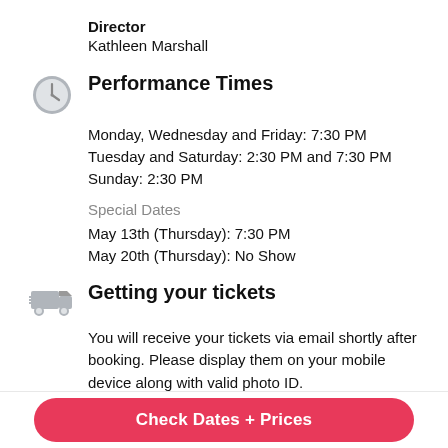Director
Kathleen Marshall
Performance Times
Monday, Wednesday and Friday: 7:30 PM
Tuesday and Saturday: 2:30 PM and 7:30 PM
Sunday: 2:30 PM
Special Dates
May 13th (Thursday): 7:30 PM
May 20th (Thursday): No Show
Getting your tickets
You will receive your tickets via email shortly after booking. Please display them on your mobile device along with valid photo ID.
Check Dates + Prices